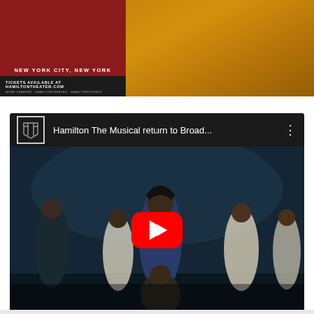[Figure (photo): Top left: Hamilton musical promotional banner with dark red background showing 'NEW YORK CITY, NEW YORK' in white uppercase letters, and a black strip below with 'TICKETS AVAILABLE AT HAMILTONTHEATER.COM' and additional ticket information text]
[Figure (photo): Top right: Golden/amber textured background, part of Hamilton musical promotional material]
[Figure (screenshot): YouTube video thumbnail and header showing 'Hamilton The Musical return to Broad...' with a Hamilton logo icon, three-dot menu, and a stage performance photo of dancers in colonial costumes with a red YouTube play button overlay in the center]